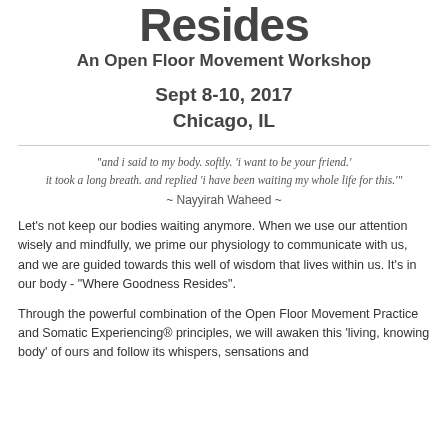Resides
An Open Floor Movement Workshop
Sept 8-10, 2017
Chicago, IL
"and i said to my body. softly. 'i want to be your friend.' it took a long breath. and replied 'i have been waiting my whole life for this.'" ~ Nayyirah Waheed ~
Let's not keep our bodies waiting anymore. When we use our attention wisely and mindfully, we prime our physiology to communicate with us, and we are guided towards this well of wisdom that lives within us. It's in our body - "Where Goodness Resides".
Through the powerful combination of the Open Floor Movement Practice and Somatic Experiencing® principles, we will awaken this 'living, knowing body' of ours and follow its whispers, sensations and